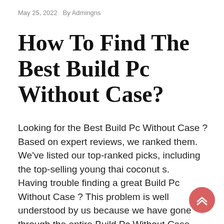May 25, 2022   By Admingns
How To Find The Best Build Pc Without Case?
Looking for the Best Build Pc Without Case ? Based on expert reviews, we ranked them. We've listed our top-ranked picks, including the top-selling young thai coconut s.
Having trouble finding a great Build Pc Without Case ? This problem is well understood by us because we have gone through the entire Build Pc Without Case research process ourselves, which is why we have put together a comprehensive list of the Best Build Pc Without Case s available in the